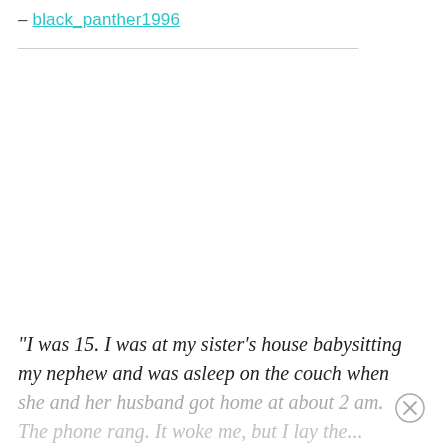– black_panther1996
"I was 15. I was at my sister's house babysitting my nephew and was asleep on the couch when she and her husband got home at about 2 am. The phone rang. It woke me, but I lay there...